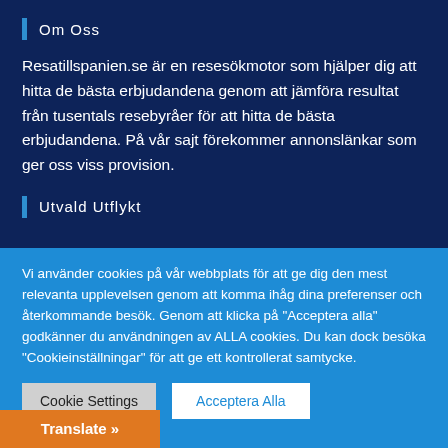Om Oss
Resatillspanien.se är en resesökmotor som hjälper dig att hitta de bästa erbjudandena genom att jämföra resultat från tusentals resebyråer för att hitta de bästa erbjudandena. På vår sajt förekommer annonslänkar som ger oss viss provision.
Utvald Utflykt
Vi använder cookies på vår webbplats för att ge dig den mest relevanta upplevelsen genom att komma ihåg dina preferenser och återkommande besök. Genom att klicka på "Acceptera alla" godkänner du användningen av ALLA cookies. Du kan dock besöka "Cookieinställningar" för att ge ett kontrollerat samtycke.
Cookie Settings
Acceptera Alla
Translate »